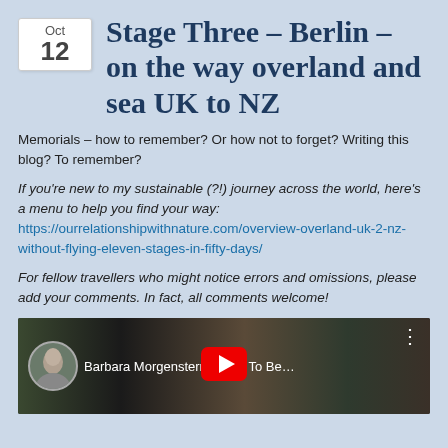Oct 12
Stage Three – Berlin – on the way overland and sea UK to NZ
Memorials – how to remember? Or how not to forget? Writing this blog? To remember?
If you're new to my sustainable (?!) journey across the world, here's a menu to help you find your way: https://ourrelationshipwithnature.com/overview-overland-uk-2-nz-without-flying-eleven-stages-in-fifty-days/
For fellow travellers who might notice errors and omissions, please add your comments. In fact, all comments welcome!
[Figure (screenshot): YouTube video thumbnail showing 'Barbara Morgenstern Come To Be...' with a circular avatar of a woman and a red play button in the center]